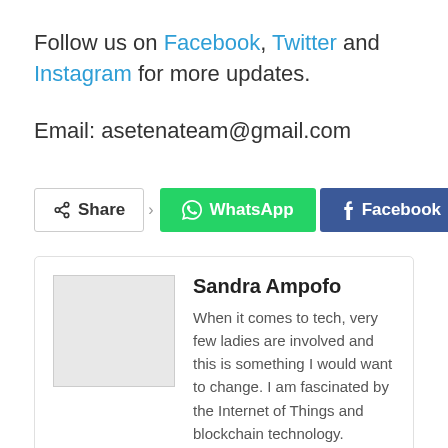Follow us on Facebook, Twitter and Instagram for more updates.
Email: asetenateam@gmail.com
[Figure (infographic): Share bar with Share button, WhatsApp button, and Facebook button]
[Figure (other): Author card for Sandra Ampofo with avatar image placeholder and bio text: When it comes to tech, very few ladies are involved and this is something I would want to change. I am fascinated by the Internet of Things and blockchain technology. Currently, I am studying Civil]